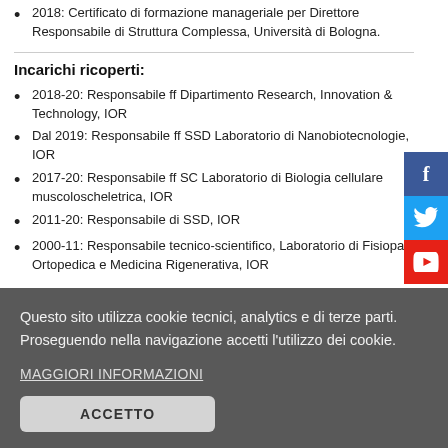2018: Certificato di formazione manageriale per Direttore Responsabile di Struttura Complessa, Università di Bologna.
Incarichi ricoperti:
2018-20: Responsabile ff Dipartimento Research, Innovation & Technology, IOR
Dal 2019: Responsabile ff SSD Laboratorio di Nanobiotecnologie, IOR
2017-20: Responsabile ff SC Laboratorio di Biologia cellulare muscoloscheletrica, IOR
2011-20: Responsabile di SSD, IOR
2000-11: Responsabile tecnico-scientifico, Laboratorio di Fisiopatologia Ortopedica e Medicina Rigenerativa, IOR
Questo sito utilizza cookie tecnici, analytics e di terze parti. Proseguendo nella navigazione accetti l'utilizzo dei cookie.
MAGGIORI INFORMAZIONI
ACCETTO